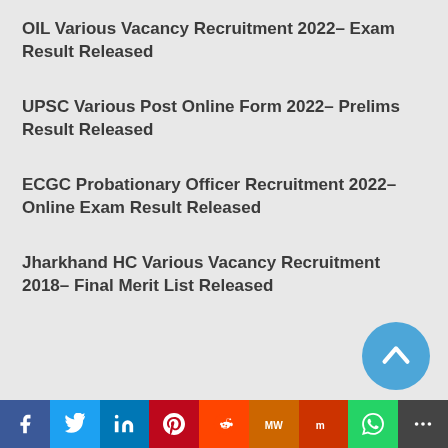OIL Various Vacancy Recruitment 2022- Exam Result Released
UPSC Various Post Online Form 2022- Prelims Result Released
ECGC Probationary Officer Recruitment 2022- Online Exam Result Released
Jharkhand HC Various Vacancy Recruitment 2018- Final Merit List Released